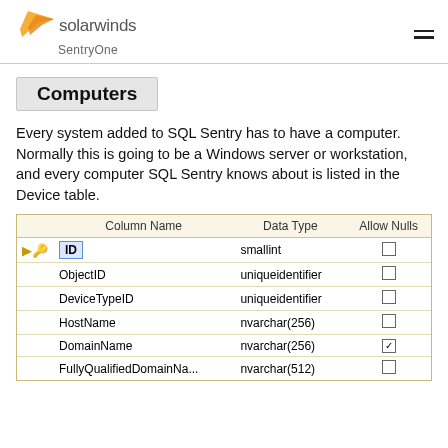solarwinds SentryOne
Computers
Every system added to SQL Sentry has to have a computer. Normally this is going to be a Windows server or workstation, and every computer SQL Sentry knows about is listed in the Device table.
|  | Column Name | Data Type | Allow Nulls |
| --- | --- | --- | --- |
| key | ID | smallint |  |
|  | ObjectID | uniqueidentifier |  |
|  | DeviceTypeID | uniqueidentifier |  |
|  | HostName | nvarchar(256) |  |
|  | DomainName | nvarchar(256) | checked |
|  | FullyQualifiedDomainNa... | nvarchar(512) |  |